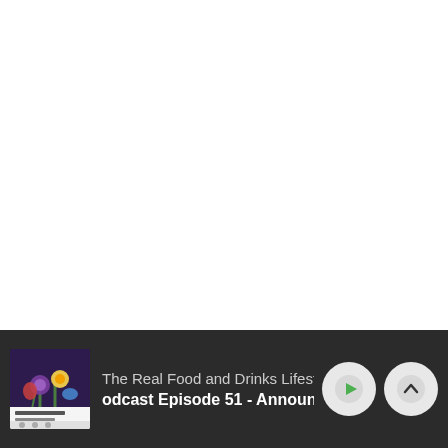[Figure (screenshot): White blank area occupying the upper portion of the screen, representing a podcast app interface with no content visible]
[Figure (screenshot): Podcast player mini-bar at the bottom: album art for 'The Real Food and Drinks Lifestyle' podcast, track text showing podcast name and 'Podcast Episode 51 - Announcements', play button (green triangle) and chevron-up button on the right]